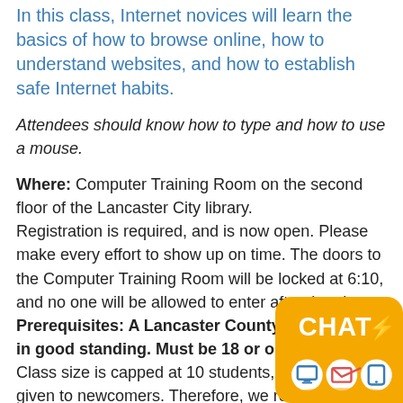In this class, Internet novices will learn the basics of how to browse online, how to understand websites, and how to establish safe Internet habits.
Attendees should know how to type and how to use a mouse.
Where: Computer Training Room on the second floor of the Lancaster City library. Registration is required, and is now open. Please make every effort to show up on time. The doors to the Computer Training Room will be locked at 6:10, and no one will be allowed to enter after that time.
Prerequisites: A Lancaster County library card in good standing. Must be 18 or older.
Class size is capped at 10 students, and priority given to newcomers. Therefore, we reserve the right to cancel the registration of a student if s/he has taken the class multiple times. Please call the reference desk at 394-